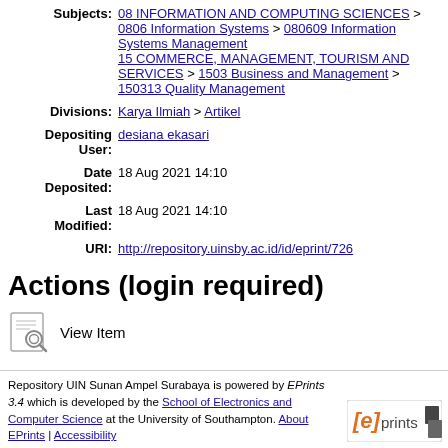| Subjects: | 08 INFORMATION AND COMPUTING SCIENCES > 0806 Information Systems > 080609 Information Systems Management
15 COMMERCE, MANAGEMENT, TOURISM AND SERVICES > 1503 Business and Management > 150313 Quality Management |
| Divisions: | Karya Ilmiah > Artikel |
| Depositing User: | desiana ekasari |
| Date Deposited: | 18 Aug 2021 14:10 |
| Last Modified: | 18 Aug 2021 14:10 |
| URI: | http://repository.uinsby.ac.id/id/eprint/726 |
Actions (login required)
[Figure (other): View item magnifying glass icon]
View Item
Repository UIN Sunan Ampel Surabaya is powered by EPrints 3.4 which is developed by the School of Electronics and Computer Science at the University of Southampton. About EPrints | Accessibility